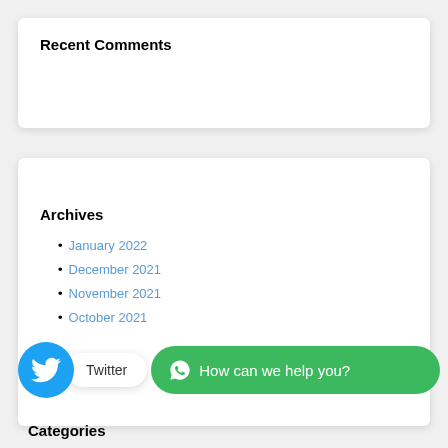Recent Comments
Archives
January 2022
December 2021
November 2021
October 2021
[Figure (other): Twitter social widget with bird icon and 'Twitter' label, plus a green WhatsApp chat bubble saying 'How can we help you?']
Categories